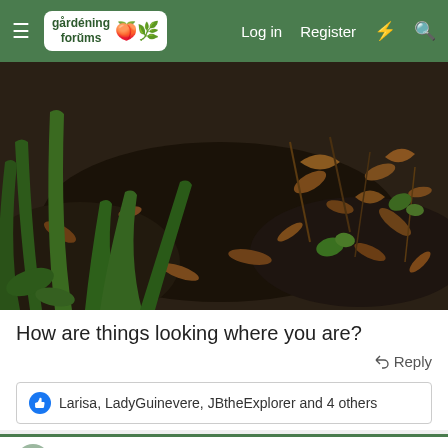gardening forums — Log in  Register
[Figure (photo): Close-up garden photo showing green plant shoots, leaves, and brown dried leaves on dark soil/mulch ground.]
How are things looking where you are?
Reply
Larisa, LadyGuinevere, JBtheExplorer and 4 others
Advertisements